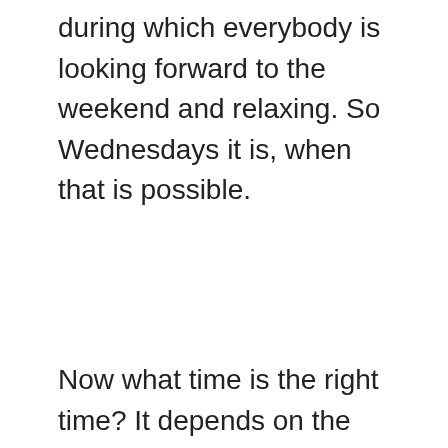during which everybody is looking forward to the weekend and relaxing. So Wednesdays it is, when that is possible.
Now what time is the right time? It depends on the form of your event. If you want to organise workshops for a whole team, it would be great to gather them around their lunch break (11 am to 2 pm, say). This way your audience will be in a good mood and still have a fresh and open mind,